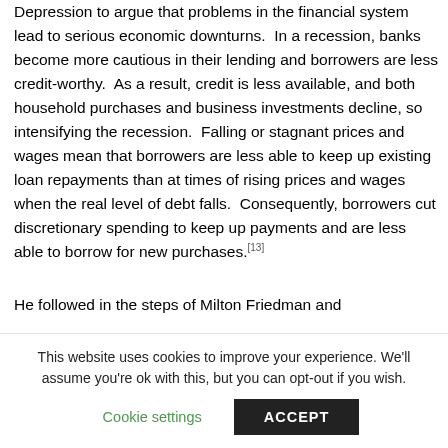Depression to argue that problems in the financial system lead to serious economic downturns. In a recession, banks become more cautious in their lending and borrowers are less credit-worthy. As a result, credit is less available, and both household purchases and business investments decline, so intensifying the recession. Falling or stagnant prices and wages mean that borrowers are less able to keep up existing loan repayments than at times of rising prices and wages when the real level of debt falls. Consequently, borrowers cut discretionary spending to keep up payments and are less able to borrow for new purchases.[13]
He followed in the steps of Milton Friedman and
This website uses cookies to improve your experience. We'll assume you're ok with this, but you can opt-out if you wish.